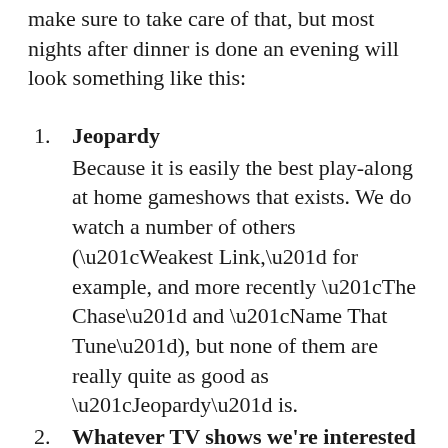make sure to take care of that, but most nights after dinner is done an evening will look something like this:
Jeopardy
Because it is easily the best play-along at home gameshows that exists. We do watch a number of others (“Weakest Link,” for example, and more recently “The Chase” and “Name That Tune”), but none of them are really quite as good as “Jeopardy” is.
Whatever TV shows we’re interested in
(could be new things, could be old things we’ve not seen)
This typically includes a number of sitcoms, but will also definitely include competition